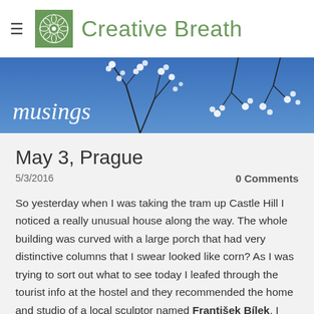Creative Breath
[Figure (illustration): Banner photo of white flowering tree branches against a blue sky, with italic text 'musings' overlaid in white]
May 3, Prague
5/3/2016
0 Comments
So yesterday when I was taking the tram up Castle Hill I noticed a really unusual house along the way. The whole building was curved with a large porch that had very distinctive columns that I swear looked like corn? As I was trying to sort out what to see today I leafed through the tourist info at the hostel and they recommended the home and studio of a local sculptor named František Bílek. I looked him up on the old internet and